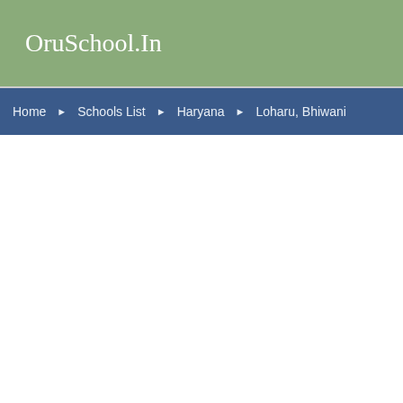OruSchool.In
Home ► Schools List ► Haryana ► Loharu, Bhiwani